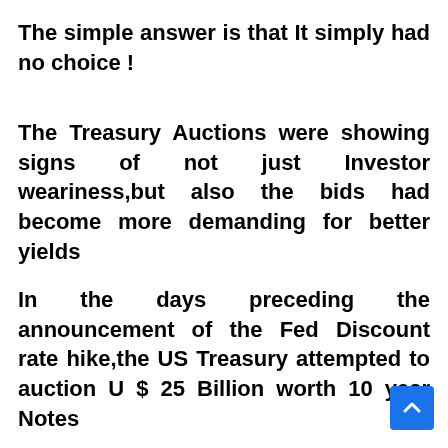The simple answer is that It simply had no choice !
The Treasury Auctions were showing signs of not just Investor weariness,but also the bids had become more demanding for better yields
In the days preceding the announcement of the Fed Discount rate hike,the US Treasury attempted to auction U $ 25 Billion worth 10 year Notes